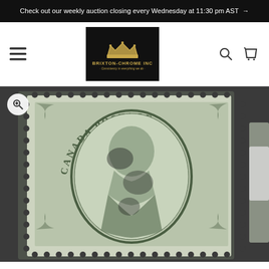Check out our weekly auction closing every Wednesday at 11:30 pm AST →
[Figure (logo): Brixton-Chrome Inc logo — gold crown and text on black background with tagline 'Consistency in everything we do']
[Figure (photo): Close-up photo of a Canada Postage stamp showing Queen Victoria portrait with perforated edges, greenish color, with cancellation marks, displayed on dark background]